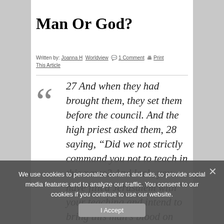Man Or God?
Written by: Joanna H  Worldview  1 Comment  Print This Article
27 And when they had brought them, they set them before the council. And the high priest asked them, 28 saying, “Did we not strictly command you not to teach in this name? And look, you have filled Jerusalem with your teaching and intend to bring this man’s blood on us!” 29 But Peter and the other apostles answered and said: “We
We use cookies to personalize content and ads, to provide social media features and to analyze our traffic. You consent to our cookies if you continue to use our website.